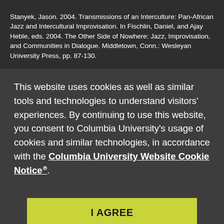Stanyek, Jason. 2004. Transmissions of an Interculture: Pan-African Jazz and Intercultural Improvisation. In Fischlin, Daniel, and Ajay Heble, eds. 2004. The Other Side of Nowhere: Jazz, Improvisation, and Communities in Dialogue. Middletown, Conn.: Wesleyan University Press, pp. 87-130.

Masaoka. Miya. 2000. Notes From a Trans-Cultural Diary. In Zorn.
This website uses cookies as well as similar tools and technologies to understand visitors' experiences. By continuing to use this website, you consent to Columbia University's usage of cookies and similar technologies, in accordance with the Columbia University Website Cookie Notice.
I AGREE